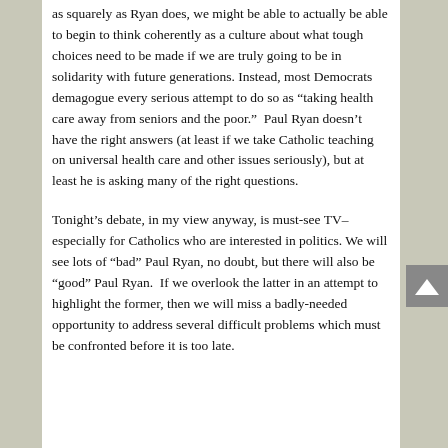as squarely as Ryan does, we might be able to actually be able to begin to think coherently as a culture about what tough choices need to be made if we are truly going to be in solidarity with future generations. Instead, most Democrats demagogue every serious attempt to do so as “taking health care away from seniors and the poor.”  Paul Ryan doesn’t have the right answers (at least if we take Catholic teaching on universal health care and other issues seriously), but at least he is asking many of the right questions.
Tonight’s debate, in my view anyway, is must-see TV–especially for Catholics who are interested in politics. We will see lots of “bad” Paul Ryan, no doubt, but there will also be “good” Paul Ryan.  If we overlook the latter in an attempt to highlight the former, then we will miss a badly-needed opportunity to address several difficult problems which must be confronted before it is too late.